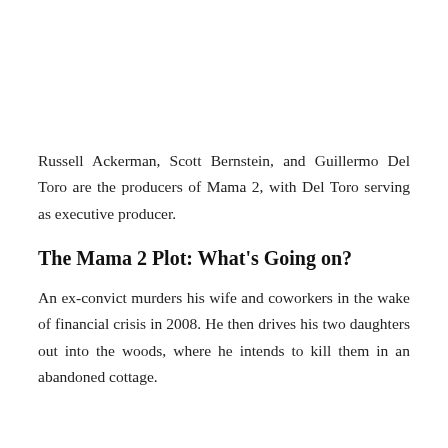Russell Ackerman, Scott Bernstein, and Guillermo Del Toro are the producers of Mama 2, with Del Toro serving as executive producer.
The Mama 2 Plot: What's Going on?
An ex-convict murders his wife and coworkers in the wake of financial crisis in 2008. He then drives his two daughters out into the woods, where he intends to kill them in an abandoned cottage.